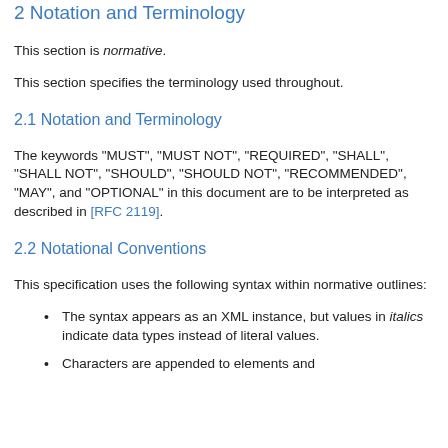2 Notation and Terminology
This section is normative.
This section specifies the terminology used throughout.
2.1 Notation and Terminology
The keywords "MUST", "MUST NOT", "REQUIRED", "SHALL", "SHALL NOT", "SHOULD", "SHOULD NOT", "RECOMMENDED", "MAY", and "OPTIONAL" in this document are to be interpreted as described in [RFC 2119].
2.2 Notational Conventions
This specification uses the following syntax within normative outlines:
The syntax appears as an XML instance, but values in italics indicate data types instead of literal values.
Characters are appended to elements and